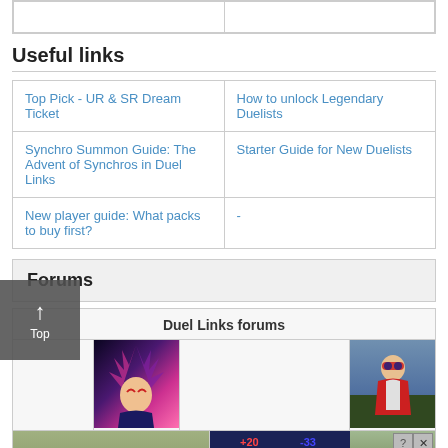| (truncated left cell) | (truncated right cell) |
Useful links
| Top Pick - UR & SR Dream Ticket | How to unlock Legendary Duelists |
| Synchro Summon Guide: The Advent of Synchros in Duel Links | Starter Guide for New Duelists |
| New player guide: What packs to buy first? | - |
Forums
| Duel Links forums |
| --- |
| [image: Yugi character] | [image: Red-coated character] |
| [landscape photo] | [Hold and Move ad] | [landscape photo] |
[Figure (screenshot): Dark Magician/Yugi character artwork with pink and purple tones]
[Figure (screenshot): Red-jacketed anime character against outdoor background]
[Figure (screenshot): Hold and Move mobile game advertisement overlay with +20/-33 scores and two player icons]